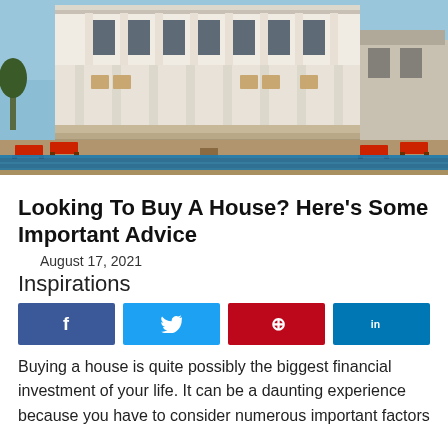[Figure (photo): Exterior photo of a large white luxury beach house with columns, multi-level porches, red lounge chairs, a pool in the foreground, and a sunny sky.]
Looking To Buy A House? Here's Some Important Advice
August 17, 2021
Inspirations
[Figure (infographic): Social media share buttons: Facebook (blue), Twitter (light blue), Pinterest (red), LinkedIn (blue)]
Buying a house is quite possibly the biggest financial investment of your life. It can be a daunting experience because you have to consider numerous important factors